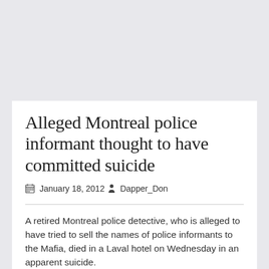Alleged Montreal police informant thought to have committed suicide
January 18, 2012  Dapper_Don
A retired Montreal police detective, who is alleged to have tried to sell the names of police informants to the Mafia, died in a Laval hotel on Wednesday in an apparent suicide.